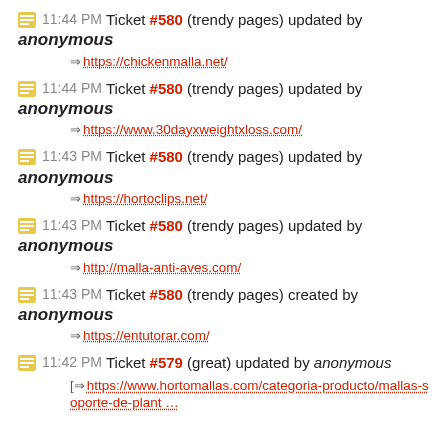11:44 PM Ticket #580 (trendy pages) updated by anonymous
⇒ https://chickenmalla.net/
11:44 PM Ticket #580 (trendy pages) updated by anonymous
⇒ https://www.30dayxweightxloss.com/
11:43 PM Ticket #580 (trendy pages) updated by anonymous
⇒ https://hortoclips.net/
11:43 PM Ticket #580 (trendy pages) updated by anonymous
⇒ http://malla-anti-aves.com/
11:43 PM Ticket #580 (trendy pages) created by anonymous
⇒ https://entutorar.com/
11:42 PM Ticket #579 (great) updated by anonymous
[⇒ https://www.hortomallas.com/categoria-producto/mallas-soporte-de-plant …